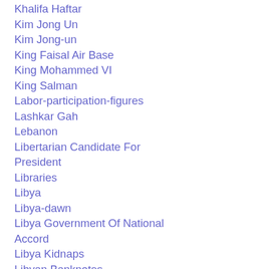Khalifa Haftar
Kim Jong Un
Kim Jong-un
King Faisal Air Base
King Mohammed VI
King Salman
Labor-participation-figures
Lashkar Gah
Lebanon
Libertarian Candidate For President
Libraries
Libya
Libya-dawn
Libya Government Of National Accord
Libya Kidnaps
Libyan Banknotes